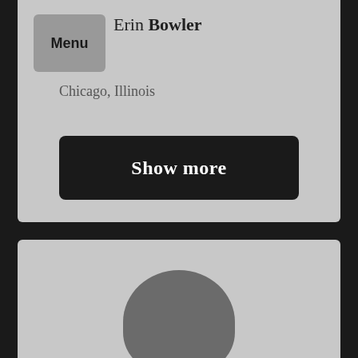Erin Bowler
Menu
Chicago, Illinois
Primary/Secondary Education
Show more
[Figure (photo): Profile photo placeholder showing silhouette of a person on gray background]